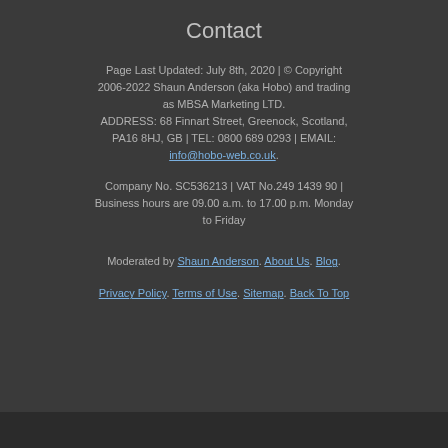Contact
Page Last Updated: July 8th, 2020 | © Copyright 2006-2022 Shaun Anderson (aka Hobo) and trading as MBSA Marketing LTD. ADDRESS: 68 Finnart Street, Greenock, Scotland, PA16 8HJ, GB | TEL: 0800 689 0293 | EMAIL: info@hobo-web.co.uk. Company No. SC536213 | VAT No.249 1439 90 | Business hours are 09.00 a.m. to 17.00 p.m. Monday to Friday
Moderated by Shaun Anderson. About Us. Blog.
Privacy Policy. Terms of Use. Sitemap. Back To Top